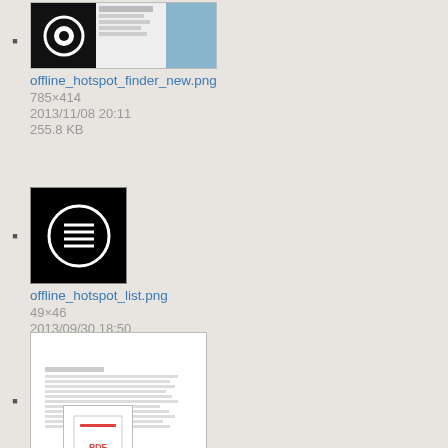offline_hotspot_finder_new.png
785×414
2013/11/08 20:11
255.8 KB
offline_hotspot_list.png
49×46
2013/09/30 18:50
740 B
oktameta.jpg
364×251
2015/09/08 19:21
34.9 KB
[Figure (screenshot): PDF file icon thumbnail]